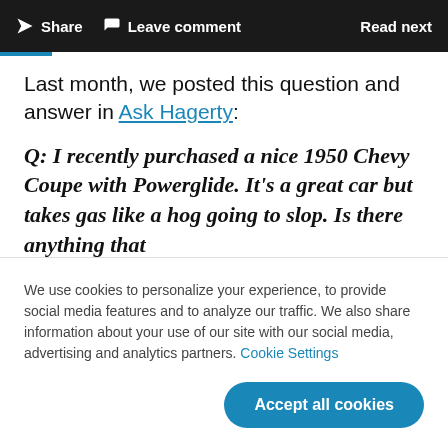Share  Leave comment  Read next
Last month, we posted this question and answer in Ask Hagerty:
Q: I recently purchased a nice 1950 Chevy Coupe with Powerglide. It's a great car but takes gas like a hog going to slop. Is there anything that
We use cookies to personalize your experience, to provide social media features and to analyze our traffic. We also share information about your use of our site with our social media, advertising and analytics partners. Cookie Settings
Accept all cookies